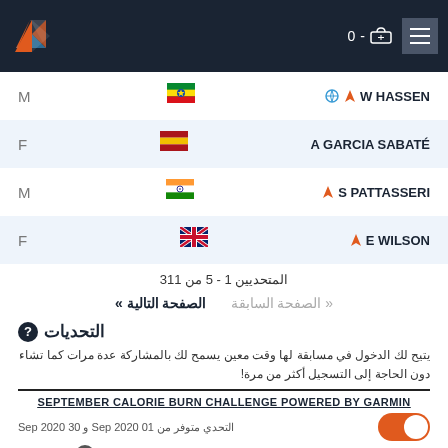W HASSEN | A GARCIA SABATÉ | S PATTASSERI | E WILSON
| Letter | Flag | Name |
| --- | --- | --- |
| M | 🇪🇹 | W HASSEN |
| F | 🇪🇸 | A GARCIA SABATÉ |
| M | 🇮🇳 | S PATTASSERI |
| F | 🇬🇧 | E WILSON |
المتحديين 1 - 5 من 311
« الصفحة السابقة   الصفحة التالية »
التحديات
يتيح لك الدخول في مسابقة لها وقت معين يسمح لك بالمشاركة عدة مرات كما تشاء دون الحاجة إلى التسجيل أكثر من مرة!
SEPTEMBER CALORIE BURN CHALLENGE POWERED BY GARMIN
التحدي متوفر من 01 Sep 2020 و 30 Sep 2020